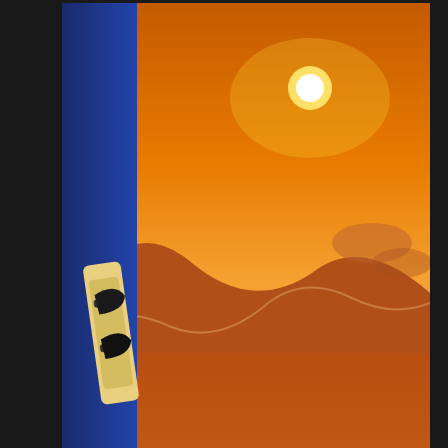[Figure (photo): Desert sunset scene with sandboarder on the left side on a blue board, vast red sand dunes, golden sun low on horizon with orange sky. Watermark text WWW.ITSALLBEE.COM in white at bottom center.]
[Figure (photo): Three thumbnail photos in a row: desert with car, person walking in white desert holding yellow bag, and a third desert/landscape thumbnail.]
[Figure (photo): What's Next panel with small thumbnail of Maramba River Lodge and text WHAT'S NEXT → Maramba River Lodge ...]
[Figure (photo): Advertisement banner at bottom: Batteries Plus, Batteries Plus Bulbs, with orange logo and navigation icon.]